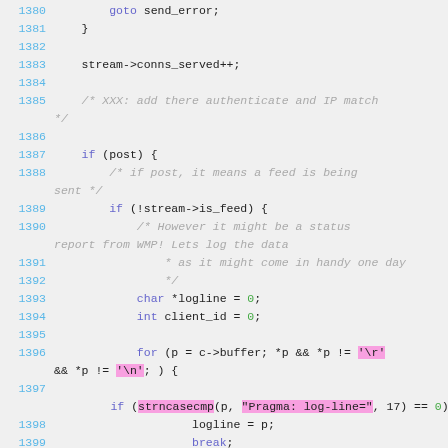Source code listing lines 1380-1399, C code with syntax highlighting